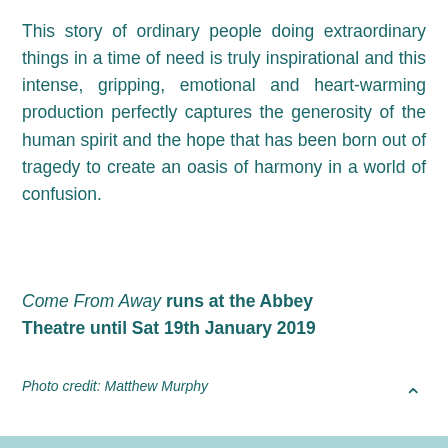This story of ordinary people doing extraordinary things in a time of need is truly inspirational and this intense, gripping, emotional and heart-warming production perfectly captures the generosity of the human spirit and the hope that has been born out of tragedy to create an oasis of harmony in a world of confusion.
Come From Away runs at the Abbey Theatre until Sat 19th January 2019
Photo credit: Matthew Murphy